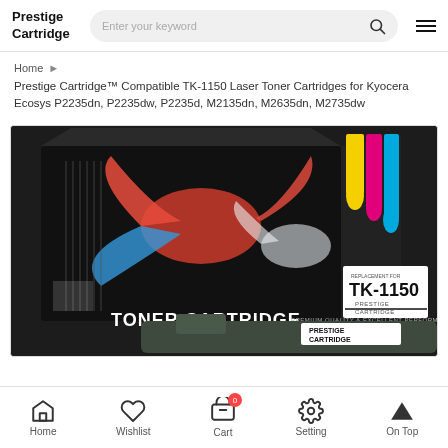Prestige Cartridge
Home ▸ Prestige Cartridge™ Compatible TK-1150 Laser Toner Cartridges for Kyocera Ecosys P2235dn, P2235dw, P2235d, M2135dn, M2635dn, M2735dw
[Figure (photo): Product photo of a black toner cartridge box branded 'TONER CARTRIDGE' with Betta fish design, labeled TK-1150 Prestige Cartridge, with yellow/magenta/cyan ink drips on the right side, and the toner cartridge unit visible in the foreground.]
Home  Wishlist  Cart  Setting  On Top